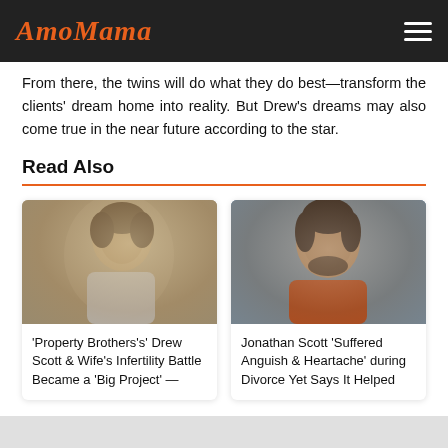AmoMama
From there, the twins will do what they do best—transform the clients' dream home into reality. But Drew's dreams may also come true in the near future according to the star.
Read Also
[Figure (photo): Photo of Drew Scott smiling, wearing a light patterned shirt, with blurred background]
'Property Brothers's' Drew Scott & Wife's Infertility Battle Became a 'Big Project' —
[Figure (photo): Photo of Jonathan Scott smiling, wearing an orange t-shirt, with grey background]
Jonathan Scott 'Suffered Anguish & Heartache' during Divorce Yet Says It Helped